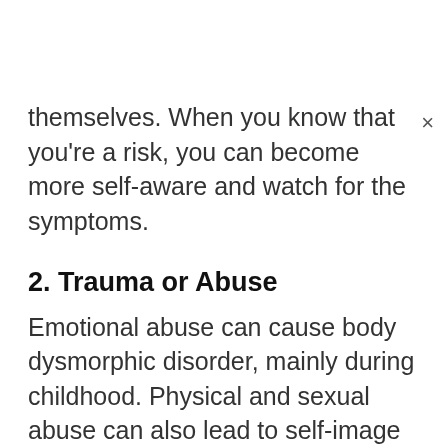themselves. When you know that you're a risk, you can become more self-aware and watch for the symptoms.
2. Trauma or Abuse
Emotional abuse can cause body dysmorphic disorder, mainly during childhood. Physical and sexual abuse can also lead to self-image issues that become obsessions. Plus, excessive teasing from peers or body shaming can cause